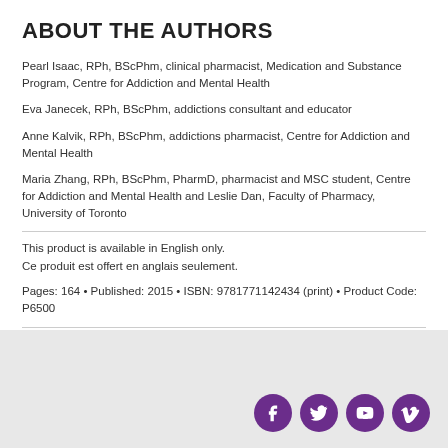ABOUT THE AUTHORS
Pearl Isaac, RPh, BScPhm, clinical pharmacist, Medication and Substance Program, Centre for Addiction and Mental Health
Eva Janecek, RPh, BScPhm, addictions consultant and educator
Anne Kalvik, RPh, BScPhm, addictions pharmacist, Centre for Addiction and Mental Health
Maria Zhang, RPh, BScPhm, PharmD, pharmacist and MSC student, Centre for Addiction and Mental Health and Leslie Dan, Faculty of Pharmacy, University of Toronto
This product is available in English only.
Ce produit est offert en anglais seulement.
Pages: 164 • Published: 2015 • ISBN: 9781771142434 (print) • Product Code: P6500
[Figure (infographic): Row of four purple circular social media icons: Facebook, Twitter, YouTube, Vimeo]